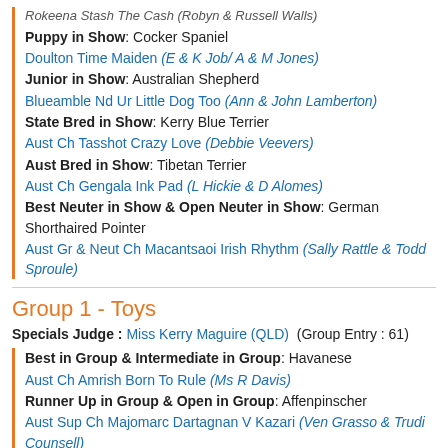Rokeena Stash The Cash (Robyn & Russell Walls)
Puppy in Show: Cocker Spaniel
Doulton Time Maiden (E & K Job/ A & M Jones)
Junior in Show: Australian Shepherd
Blueamble Nd Ur Little Dog Too (Ann & John Lamberton)
State Bred in Show: Kerry Blue Terrier
Aust Ch Tasshot Crazy Love (Debbie Veevers)
Aust Bred in Show: Tibetan Terrier
Aust Ch Gengala Ink Pad (L Hickie & D Alomes)
Best Neuter in Show & Open Neuter in Show: German Shorthaired Pointer
Aust Gr & Neut Ch Macantsaoi Irish Rhythm (Sally Rattle & Todd Sproule)
Group 1 - Toys
Specials Judge : Miss Kerry Maguire (QLD)  (Group Entry : 61)
Best in Group & Intermediate in Group: Havanese
Aust Ch Amrish Born To Rule (Ms R Davis)
Runner Up in Group & Open in Group: Affenpinscher
Aust Sup Ch Majomarc Dartagnan V Kazari (Ven Grasso & Trudi Counsell)
Baby in Group: Pekingese